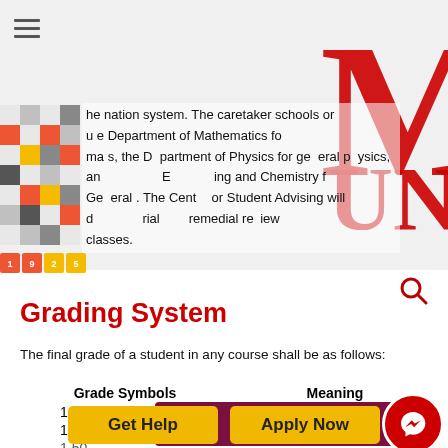[Figure (screenshot): University mobile website screenshot showing MUN logo, hamburger menu, decorative graphic with colorful tiles and silhouette, and body text about caretaker schools and departments]
the nation system. The caretaker schools or under the Department of Mathematics for mathematics, the Department of Physics for general physics, and Chemical Engineering and Chemistry for General Chemistry. The Center for Student Advising will distribute materials for remedial review classes.
Grading System
The final grade of a student in any course shall be as follows:
| Grade Symbols | Meaning |
| --- | --- |
| 1.00 |  |
| 1.25 |  |
| 1.50 |  |
| 1.75 |  |
| 2.00 |  |
[Figure (screenshot): Contact Us button overlay with purple background and Messenger circle icon in red]
[Figure (screenshot): Get Help and Apply Now yellow buttons at bottom of page]